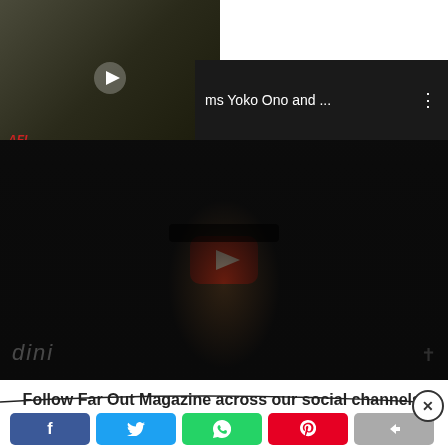[Figure (screenshot): Small video thumbnail top-left showing black and white footage of people, with AFI logo, and a play button overlay]
[Figure (screenshot): Video list item top-right showing dark background with text 'ms Yoko Ono and ...' and three-dot menu icon]
[Figure (screenshot): Large YouTube video player showing a dark-toned video of a person with glasses and a red YouTube play button in the center, with 'dini' watermark text at bottom left]
Follow Far Out Magazine across our social channels, on Facebook, Twitter and Instagram.
[Figure (screenshot): Social media sharing bar with Facebook, Twitter, WhatsApp, Pinterest, and grey share buttons, plus a close (X) button]